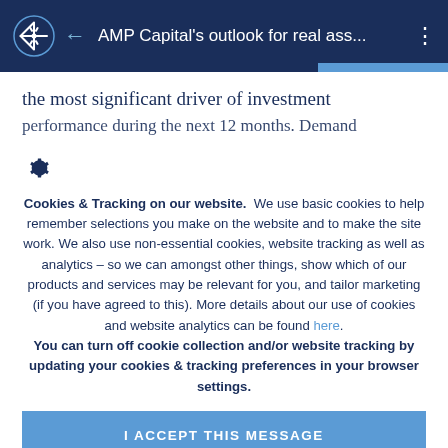AMP Capital's outlook for real ass...
the most significant driver of investment performance during the next 12 months. Demand
[Figure (other): Gear/settings icon]
Cookies & Tracking on our website. We use basic cookies to help remember selections you make on the website and to make the site work. We also use non-essential cookies, website tracking as well as analytics – so we can amongst other things, show which of our products and services may be relevant for you, and tailor marketing (if you have agreed to this). More details about our use of cookies and website analytics can be found here. You can turn off cookie collection and/or website tracking by updating your cookies & tracking preferences in your browser settings.
I ACCEPT THIS MESSAGE